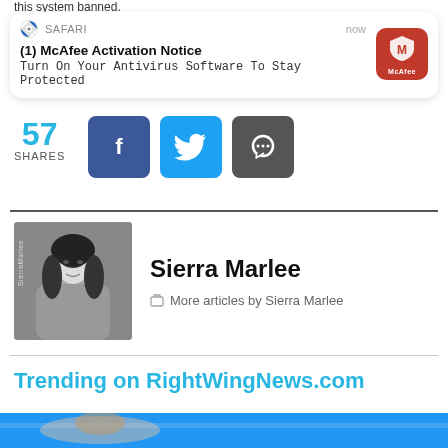this system banned.
[Figure (screenshot): Safari browser push notification popup: '(1) McAfee Activation Notice - Turn On Your Antivirus Software To Stay Protected' with McAfee red icon, timestamped 'now']
57 SHARES
[Figure (infographic): Social share buttons: Facebook (blue), Twitter (cyan), message/chat (dark gray) with 57 shares count]
[Figure (photo): Black and white portrait photo of Sierra Marlee]
Sierra Marlee
More articles by Sierra Marlee
Trending on RightWingNews.com